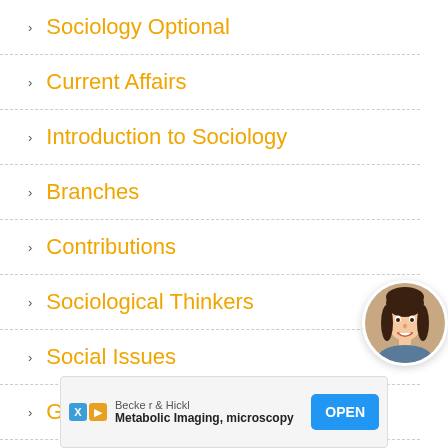Sociology Optional
Current Affairs
Introduction to Sociology
Branches
Contributions
Sociological Thinkers
Social Issues
Gender
[Figure (photo): Circular avatar photo of a young woman smiling]
Becker & Hickl
Metabolic Imaging, microscopy
OPEN